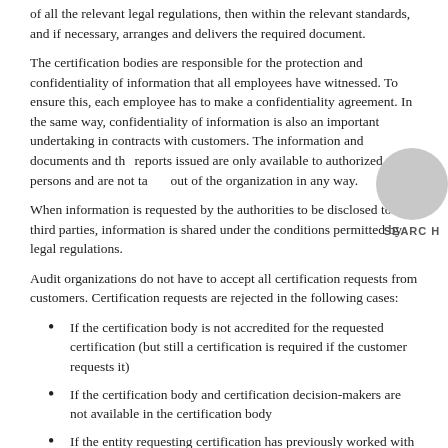of all the relevant legal regulations, then within the relevant standards, and if necessary, arranges and delivers the required document.
The certification bodies are responsible for the protection and confidentiality of information that all employees have witnessed. To ensure this, each employee has to make a confidentiality agreement. In the same way, confidentiality of information is also an important undertaking in contracts with customers. The information and documents and the reports issued are only available to authorized persons and are not taken out of the organization in any way.
When information is requested by the authorities to be disclosed to third parties, information is shared under the conditions permitted by legal regulations.
Audit organizations do not have to accept all certification requests from customers. Certification requests are rejected in the following cases:
If the certification body is not accredited for the requested certification (but still a certification is required if the customer requests it)
If the certification body and certification decision-makers are not available in the certification body
If the entity requesting certification has previously worked with another certification body and has not received a certificate,
If the company requesting certification is known to have difficulty